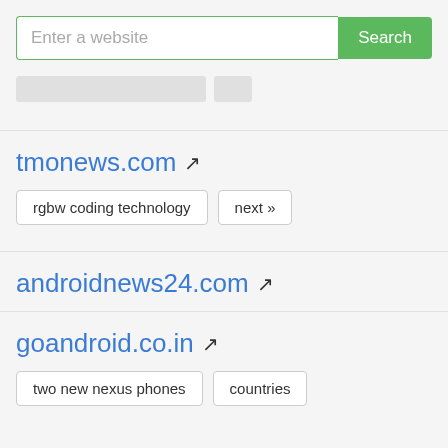[Figure (screenshot): Search bar with text input placeholder 'Enter a website' and green 'Search' button]
[Figure (screenshot): Stub/placeholder bars (truncated content from previous section)]
tmonews.com ↗
rgbw coding technology
next »
androidnews24.com ↗
goandroid.co.in ↗
two new nexus phones
countries